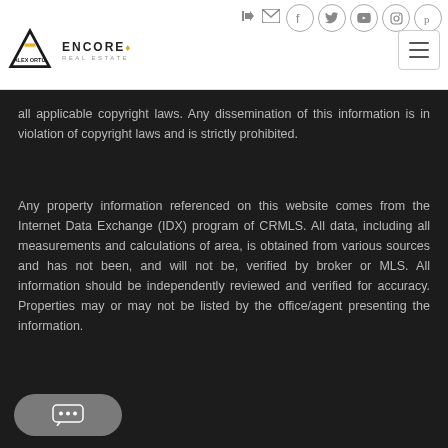Alex Ortiz / Encore Real Estate — website header with navigation icons
all applicable copyright laws. Any dissemination of this information is in violation of copyright laws and is strictly prohibited.
Any property information referenced on this website comes from the Internet Data Exchange (IDX) program of CRMLS. All data, including all measurements and calculations of area, is obtained from various sources and has not been, and will not be, verified by broker or MLS. All information should be independently reviewed and verified for accuracy. Properties may or may not be listed by the office/agent presenting the information.